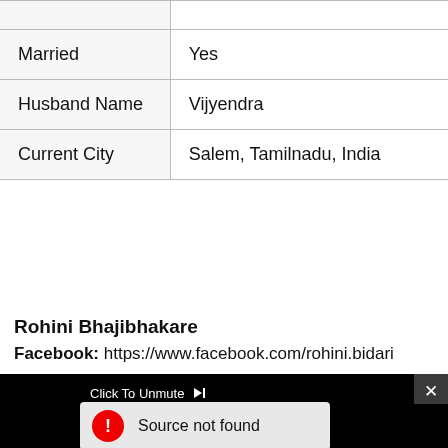|  |  |
| Married | Yes |
| Husband Name | Vijyendra |
| Current City | Salem, Tamilnadu, India |
Rohini Bhajibhakare
Facebook: https://www.facebook.com/rohini.bidari
[Figure (screenshot): Black video player overlay showing 'Click To Unmute' text with cursor icon, a 'Source not found' error message in a gray bar with red warning icon, and a close X button in top-right corner.]